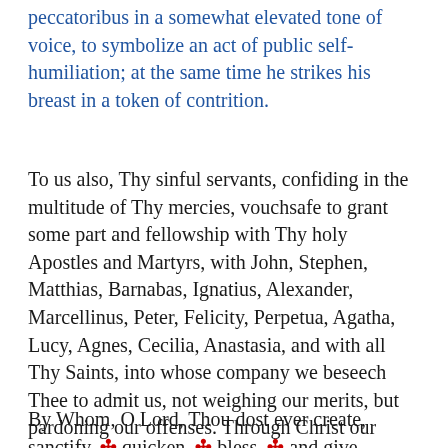peccatoribus in a somewhat elevated tone of voice, to symbolize an act of public self-humiliation; at the same time he strikes his breast in a token of contrition.
To us also, Thy sinful servants, confiding in the multitude of Thy mercies, vouchsafe to grant some part and fellowship with Thy holy Apostles and Martyrs, with John, Stephen, Matthias, Barnabas, Ignatius, Alexander, Marcellinus, Peter, Felicity, Perpetua, Agatha, Lucy, Agnes, Cecilia, Anastasia, and with all Thy Saints, into whose company we beseech Thee to admit us, not weighing our merits, but pardoning our offenses. Through Christ our Lord.
By Whom, O Lord, Thou dost ever create, sanctify, ✝ quicken, ✝ bless, ✝ and give